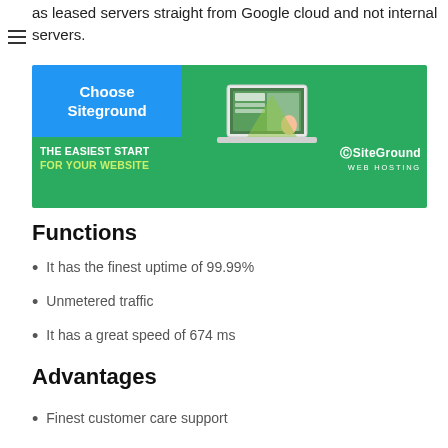as leased servers straight from Google cloud and not internal servers.
[Figure (screenshot): SiteGround web hosting advertisement banner with blue 'Choose Siteground' button and green background showing laptop graphic, text 'THE EASIEST START FOR YOUR WEBSITE' and SiteGround WEB HOSTING logo]
Functions
It has the finest uptime of 99.99%
Unmetered traffic
It has a great speed of 674 ms
Advantages
Finest customer care support